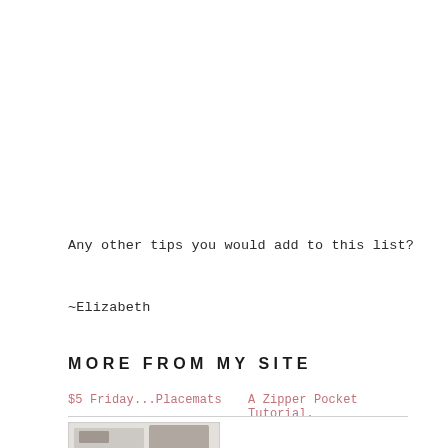Any other tips you would add to this list?
~Elizabeth
MORE FROM MY SITE
$5 Friday...Placemats
A Zipper Pocket Tutorial.
[Figure (photo): Thumbnail image placeholder at bottom left]